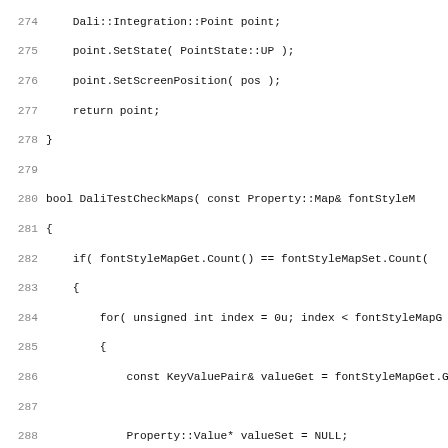[Figure (screenshot): Source code listing showing C++ code for DaliTestCheckMaps function, with line numbers 274-306 visible. Code includes function calls like SetState, SetScreenPosition, and logic for checking font style maps using KeyValuePair, Property::Value, and fontStyleMapSet.Find operations.]